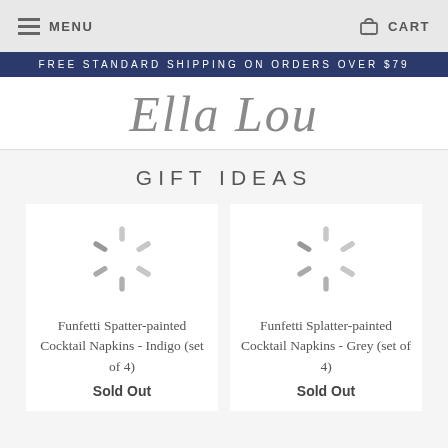MENU  CART
FREE STANDARD SHIPPING ON ORDERS OVER $79
Ella Lou
GIFT IDEAS
[Figure (illustration): Loading spinner icon (grey radial lines) for product image placeholder]
Funfetti Spatter-painted Cocktail Napkins - Indigo (set of 4)
Sold Out
[Figure (illustration): Loading spinner icon (grey radial lines) for product image placeholder]
Funfetti Splatter-painted Cocktail Napkins - Grey (set of 4)
Sold Out